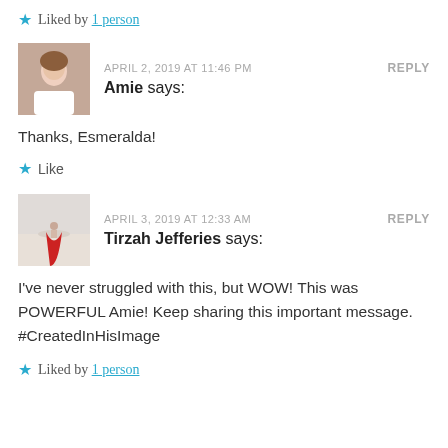★ Liked by 1 person
APRIL 2, 2019 AT 11:46 PM    REPLY
Amie says:
Thanks, Esmeralda!
★ Like
APRIL 3, 2019 AT 12:33 AM    REPLY
Tirzah Jefferies says:
I've never struggled with this, but WOW! This was POWERFUL Amie! Keep sharing this important message. #CreatedInHisImage
★ Liked by 1 person